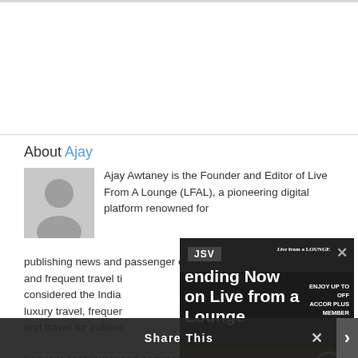About Ajay
Ajay Awtaney is the Founder and Editor of Live From A Lounge (LFAL), a pioneering digital platform renowned for publishing news and passenger experience and frequent travel tips considered the Indian luxury travel, frequent and travel for Indians frequent contributor and commentator on the media as well, including ET Now, BBC, and TV18, NDTV, County News, and others.
[Figure (screenshot): Video overlay showing 'Trending Now on Live from a Lounge' with JSV badge, Live from a Lounge logo, play button, and close button]
Share This